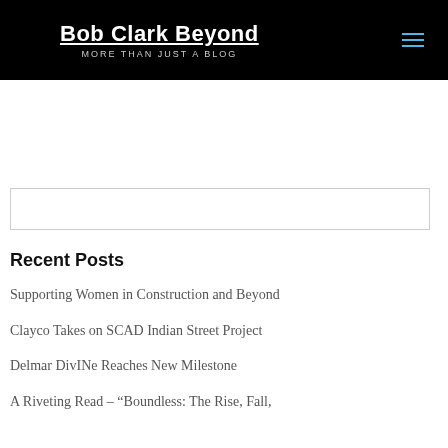Bob Clark Beyond — MORE THAN JUST A BLOG
Recent Posts
Supporting Women in Construction and Beyond
Clayco Takes on SCAD Indian Street Project
Delmar DivINe Reaches New Milestone
A Riveting Read – “Boundless: The Rise, Fall,